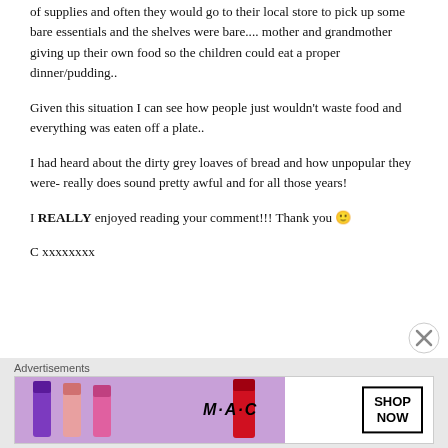of supplies and often they would go to their local store to pick up some bare essentials and the shelves were bare.... mother and grandmother giving up their own food so the children could eat a proper dinner/pudding..
Given this situation I can see how people just wouldn't waste food and everything was eaten off a plate..
I had heard about the dirty grey loaves of bread and how unpopular they were- really does sound pretty awful and for all those years!
I REALLY enjoyed reading your comment!!! Thank you 🙂
C xxxxxxxx
[Figure (other): Close (X) button in top-right area]
Advertisements
[Figure (photo): MAC cosmetics advertisement banner showing lipsticks in purple, pink, and red with MAC logo and SHOP NOW button]